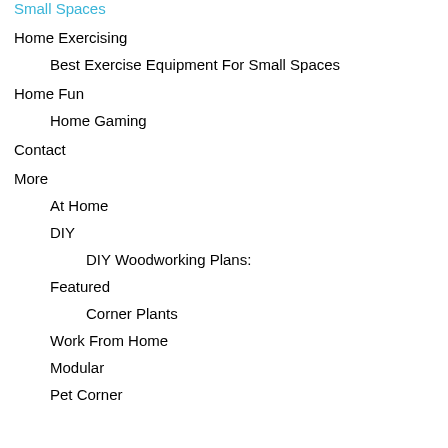Small Spaces
Home Exercising
Best Exercise Equipment For Small Spaces
Home Fun
Home Gaming
Contact
More
At Home
DIY
DIY Woodworking Plans:
Featured
Corner Plants
Work From Home
Modular
Pet Corner